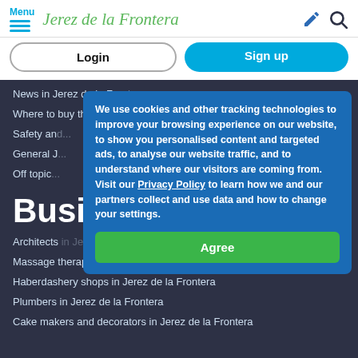Menu | Jerez de la Frontera
Login | Sign up
News in Jerez de la Frontera
Where to buy things in Jerez de la Frontera
Safety an...
General J...
Off topic...
Busi...
We use cookies and other tracking technologies to improve your browsing experience on our website, to show you personalised content and targeted ads, to analyse our website traffic, and to understand where our visitors are coming from. Visit our Privacy Policy to learn how we and our partners collect and use data and how to change your settings.
Agree
Architects in Jerez de la Frontera
Massage therapists in Jerez de la Frontera
Haberdashery shops in Jerez de la Frontera
Plumbers in Jerez de la Frontera
Cake makers and decorators in Jerez de la Frontera